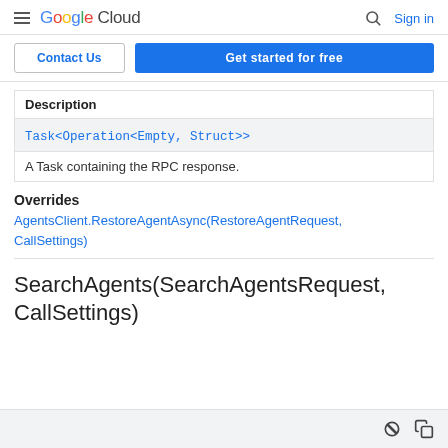Google Cloud — Sign in
Contact Us | Get started for free
| Description |
| --- |
| Task<Operation<Empty, Struct>> |
| A Task containing the RPC response. |
Overrides
AgentsClient.RestoreAgentAsync(RestoreAgentRequest, CallSettings)
SearchAgents(SearchAgentsRequest, CallSettings)